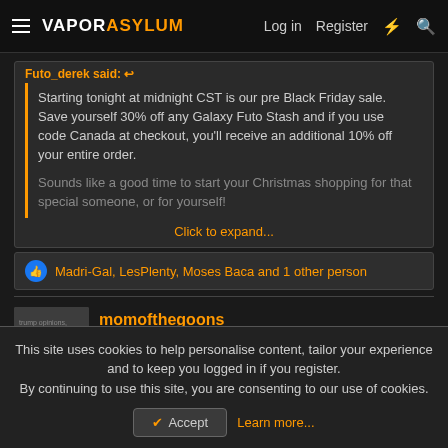VAPORASYLUM — Log in | Register
Futo_derek said:
Starting tonight at midnight CST is our pre Black Friday sale. Save yourself 30% off any Galaxy Futo Stash and if you use code Canada at checkout, you'll receive an additional 10% off your entire order.

Sounds like a good time to start your Christmas shopping for that special someone, or for yourself!
Click to expand...
Madri-Gal, LesPlenty, Moses Baca and 1 other person
momofthegoons
Vapor Accessory Addict  Staff member
This site uses cookies to help personalise content, tailor your experience and to keep you logged in if you register.
By continuing to use this site, you are consenting to our use of cookies.
Accept  Learn more...